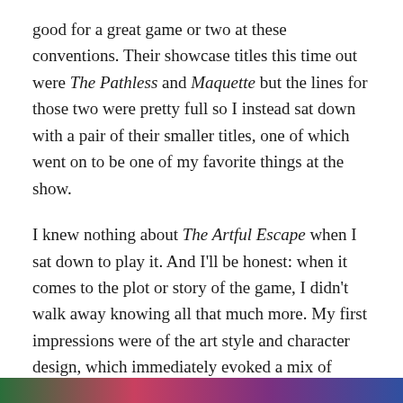good for a great game or two at these conventions. Their showcase titles this time out were The Pathless and Maquette but the lines for those two were pretty full so I instead sat down with a pair of their smaller titles, one of which went on to be one of my favorite things at the show.
I knew nothing about The Artful Escape when I sat down to play it. And I'll be honest: when it comes to the plot or story of the game, I didn't walk away knowing all that much more. My first impressions were of the art style and character design, which immediately evoked a mix of Headlander and Broken Age, on an alien planet. After a bit of dialogue, it was evident I was on this planet to perform at some sort of space jazz club that was hard to find because it disappears and reappears regularly but never in the same place twice. Intriguing quantum physics-type stuff.
[Figure (photo): Colorful horizontal image strip at bottom of page showing game artwork in green, red/pink, purple, and blue tones.]